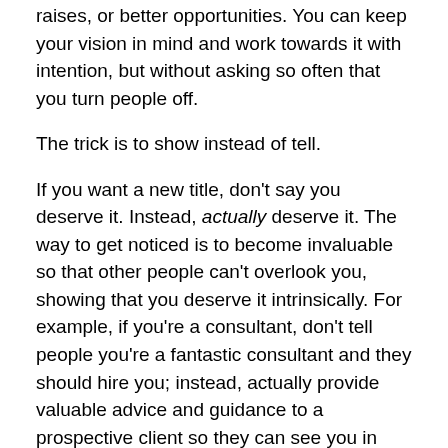raises, or better opportunities. You can keep your vision in mind and work towards it with intention, but without asking so often that you turn people off.
The trick is to show instead of tell.
If you want a new title, don't say you deserve it. Instead, actually deserve it. The way to get noticed is to become invaluable so that other people can't overlook you, showing that you deserve it intrinsically. For example, if you're a consultant, don't tell people you're a fantastic consultant and they should hire you; instead, actually provide valuable advice and guidance to a prospective client so they can see you in action. If you're a salesperson, don't tell people how great your product is and implore them to buy it; look for opportunities to show them your product in action in a situation in which they genuinely need your